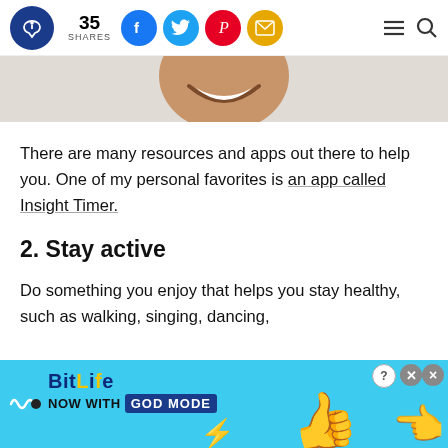35 SHARES [Facebook, Twitter, Pinterest, Email social icons] [Hamburger menu] [Search]
[Figure (photo): Partial view of a person's face (bottom half showing a smile), cropped at the top of the content area, on a light beige background.]
There are many resources and apps out there to help you. One of my personal favorites is an app called Insight Timer.
2. Stay active
Do something you enjoy that helps you stay healthy, such as walking, singing, dancing,
[Figure (screenshot): BitLife advertisement banner: cyan/light blue background with BitLife logo, 'NOW WITH GOD MODE' text, lightning bolt graphic, cartoon thumb and pointing hand illustrations, close and help buttons.]